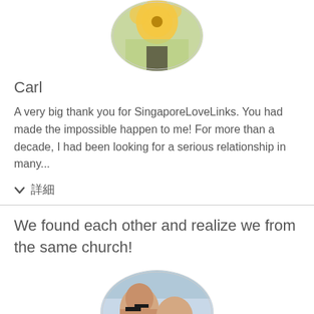[Figure (photo): Circular cropped photo of a person with a sunflower, partially visible at the top of the page]
Carl
A very big thank you for SingaporeLoveLinks. You had made the impossible happen to me! For more than a decade, I had been looking for a serious relationship in many...
詳細
We found each other and realize we from the same church!
[Figure (photo): Circular cropped photo of a couple (man and woman) in a selfie style, partially visible at the bottom of the page]